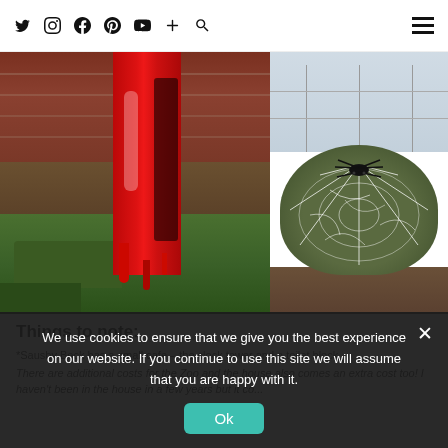Navigation bar with social icons: Twitter, Instagram, Facebook, Pinterest, YouTube, Plus, Search, and hamburger menu
[Figure (photo): Two photos side by side: left photo shows a red painted post or tree trunk with black shadow streaks against a brick wall with green grass at the bottom; right photo shows a rounded topiary bush covered in white spider webs with a black plastic spider on top, greenhouse glass in background]
Things to note:
*Sausby Beck has a small cafe – the clock tower and a toilet block be...
There are additional costs for the Zoo and the house also comes an extra cost too! I haven't been in the house in a few years but it co...
We use cookies to ensure that we give you the best experience on our website. If you continue to use this site we will assume that you are happy with it.